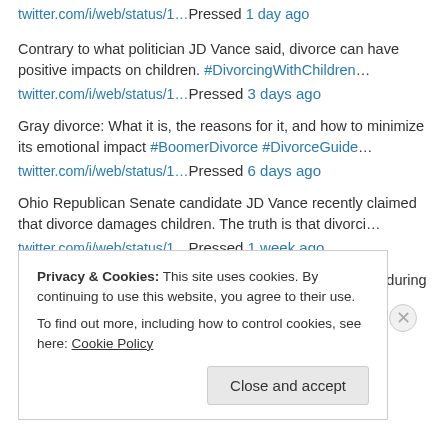twitter.com/i/web/status/1…Pressed 1 day ago
Contrary to what politician JD Vance said, divorce can have positive impacts on children. #DivorcingWithChildren… twitter.com/i/web/status/1…Pressed 3 days ago
Gray divorce: What it is, the reasons for it, and how to minimize its emotional impact #BoomerDivorce #DivorceGuide… twitter.com/i/web/status/1…Pressed 6 days ago
Ohio Republican Senate candidate JD Vance recently claimed that divorce damages children. The truth is that divorci… twitter.com/i/web/status/1…Pressed 1 week ago
These financial and estate planning issues may come up during your
Privacy & Cookies: This site uses cookies. By continuing to use this website, you agree to their use. To find out more, including how to control cookies, see here: Cookie Policy